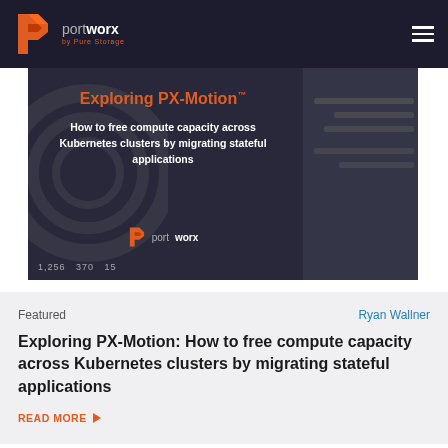portworx by Pure Storage
[Figure (screenshot): Hero image showing Portworx PX-Motion presentation slide with dark background. Title reads 'Exploring PX-Motion™' in orange, subtitle 'How to free compute capacity across Kubernetes clusters by migrating stateful applications' in white. Portworx logo visible inside. Stats '1,256 370 15' shown at bottom left.]
Featured
Ryan Wallner
Exploring PX-Motion: How to free compute capacity across Kubernetes clusters by migrating stateful applications
READ MORE ▶